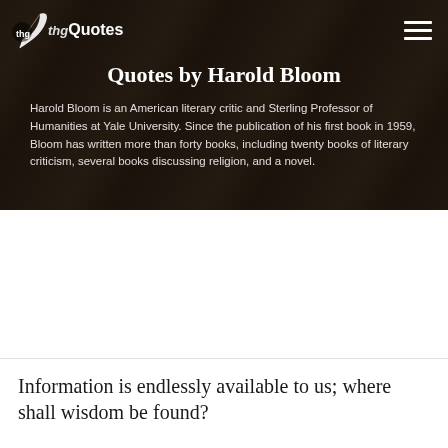thgQuotes [logo with feather]
Quotes by Harold Bloom
Harold Bloom is an American literary critic and Sterling Professor of Humanities at Yale University. Since the publication of his first book in 1959, Bloom has written more than forty books, including twenty books of literary criticism, several books discussing religion, and a novel.
Information is endlessly available to us; where shall wisdom be found?